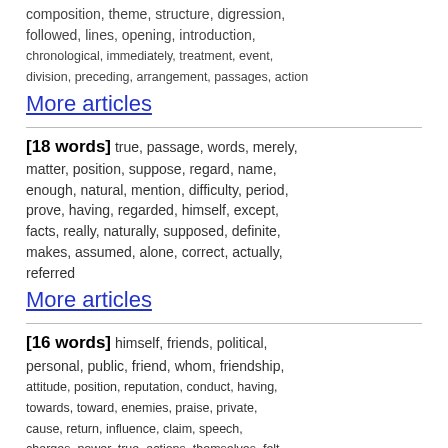composition, theme, structure, digression, followed, lines, opening, introduction, chronological, immediately, treatment, event, division, preceding, arrangement, passages, action
More articles
[18 words] true, passage, words, merely, matter, position, suppose, regard, name, enough, natural, mention, difficulty, period, prove, having, regarded, himself, except, facts, really, naturally, supposed, definite, makes, assumed, alone, correct, actually, referred
More articles
[16 words] himself, friends, political, personal, public, friend, whom, friendship, attitude, position, reputation, conduct, having, towards, toward, enemies, praise, private, cause, return, influence, claim, speech, charges, power, true, actions, themselves, felt, career
More articles
[16 words] story, king, himself, told, tale,